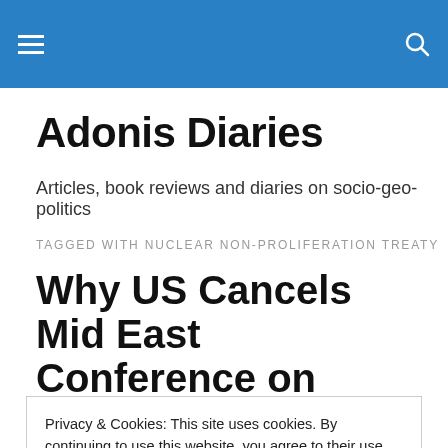Adonis Diaries — site header with hamburger menu and search icon
Adonis Diaries
Articles, book reviews and diaries on socio-geo-politics
TAGGED WITH NUCLEAR NON-PROLIFERATION TREATY
Why US Cancels Mid East Conference on Nuke-Free
Privacy & Cookies: This site uses cookies. By continuing to use this website, you agree to their use.
To find out more, including how to control cookies, see here: Cookie Policy